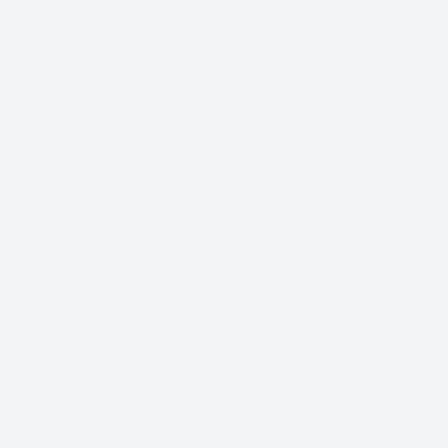ce. The attorney can assist in resolving the debt and avoiding